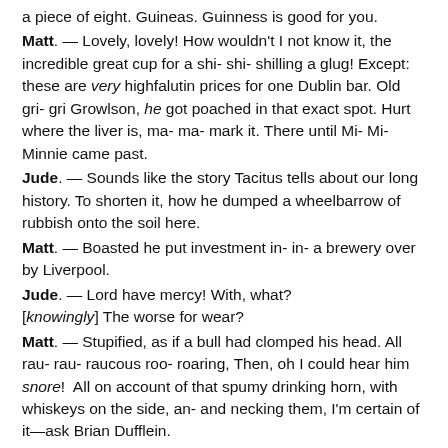a piece of eight. Guineas. Guinness is good for you.
Matt. — Lovely, lovely! How wouldn't I not know it, the incredible great cup for a shi- shi- shilling a glug! Except: these are very highfalutin prices for one Dublin bar. Old gri- gri Growlson, he got poached in that exact spot. Hurt where the liver is, ma- ma- mark it. There until Mi- Mi- Minnie came past.
Jude. — Sounds like the story Tacitus tells about our long history. To shorten it, how he dumped a wheelbarrow of rubbish onto the soil here.
Matt. — Boasted he put investment in- in- a brewery over by Liverpool.
Jude. — Lord have mercy! With, what? [knowingly] The worse for wear?
Matt. — Stupified, as if a bull had clomped his head. All rau- rau- raucous roo- roaring, Then, oh I could hear him snore!  All on account of that spumy drinking horn, with whiskeys on the side, an- and necking them, I'm certain of it—ask Brian Dufflein.